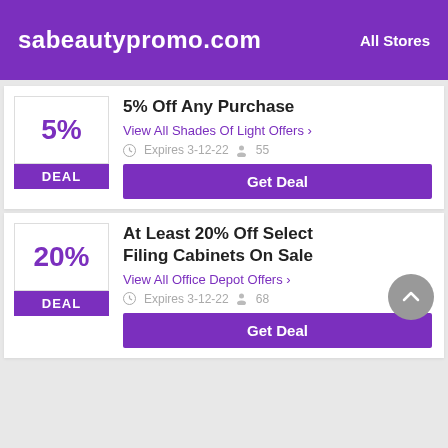sabeautypromo.com — All Stores
5% Off Any Purchase
View All Shades Of Light Offers >
Expires 3-12-22  55
Get Deal
At Least 20% Off Select Filing Cabinets On Sale
View All Office Depot Offers >
Expires 3-12-22  68
Get Deal